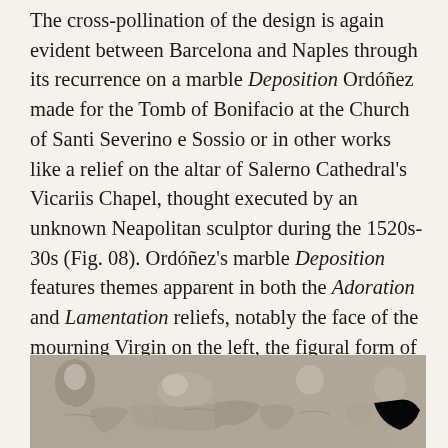The cross-pollination of the design is again evident between Barcelona and Naples through its recurrence on a marble Deposition Ordóñez made for the Tomb of Bonifacio at the Church of Santi Severino e Sossio or in other works like a relief on the altar of Salerno Cathedral's Vicariis Chapel, thought executed by an unknown Neapolitan sculptor during the 1520s-30s (Fig. 08). Ordóñez's marble Deposition features themes apparent in both the Adoration and Lamentation reliefs, notably the face of the mourning Virgin on the left, the figural form of the deposed Christ and the inward leaning figure on the right whose back and drapery are implied by the right-most figure on the Adoration (Fig. 09).
[Figure (photo): Black and white photograph of a marble relief sculpture showing several figures in a Deposition or Lamentation scene, with draped figures rendered in detailed stone carving.]